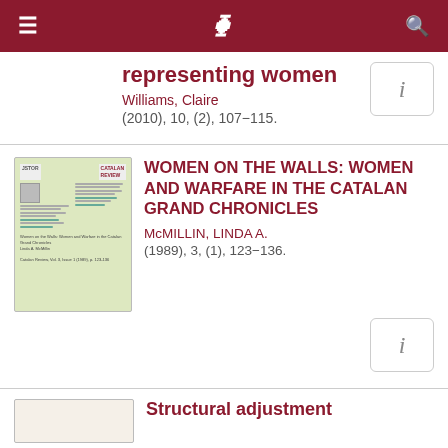≡ ) 🔍
representing women
Williams, Claire
(2010), 10, (2), 107−115.
[Figure (screenshot): Info button with letter i]
[Figure (screenshot): Thumbnail preview of journal article about Women on the Walls]
WOMEN ON THE WALLS: WOMEN AND WARFARE IN THE CATALAN GRAND CHRONICLES
McMILLIN, LINDA A.
(1989), 3, (1), 123−136.
[Figure (screenshot): Info button with letter i]
[Figure (screenshot): Thumbnail preview of third article]
Structural adjustment